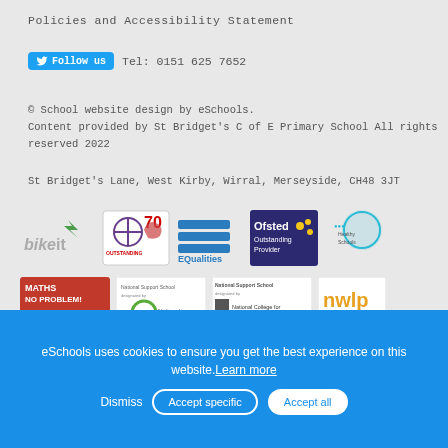Policies and Accessibility Statement
Follow us  Tel: 0151 625 7652
© School website design by eSchools. Content provided by St Bridget's C of E Primary School All rights reserved 2022
St Bridget's Lane, West Kirby, Wirral, Merseyside, CH48 3JT
[Figure (logo): Row of accreditation logos: bikeit, The Church of England Outstanding, EQualities, Ofsted Outstanding Provider, Healthy Schools]
[Figure (logo): Row of accreditation logos: Maths No Problem Accredited School, National College National Support School, National College for Teaching & Leadership National Support School, nwlp]
eSchools uses cookies to ensure you get the best experience on this website. Learn more
Dismiss
Accept specific
Accept all